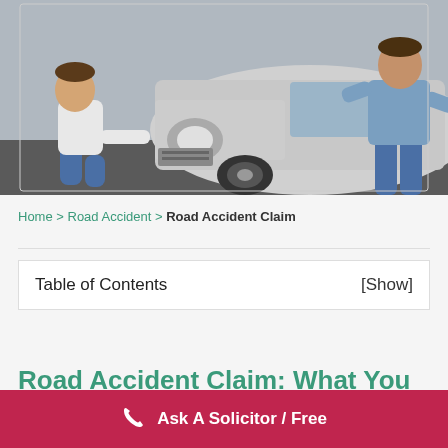[Figure (photo): Two men examining damage to a white car after a road accident. One man is crouching down touching the wheel/bumper area, the other is standing with hands on hips.]
Home > Road Accident > Road Accident Claim
| Table of Contents | [Show] |
| --- | --- |
Road Accident Claim: What You
Ask A Solicitor / Free